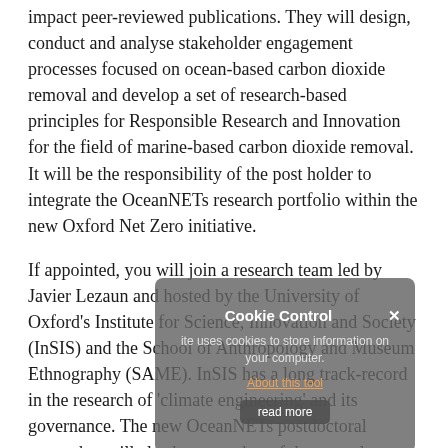impact peer-reviewed publications. They will design, conduct and analyse stakeholder engagement processes focused on ocean-based carbon dioxide removal and develop a set of research-based principles for Responsible Research and Innovation for the field of marine-based carbon dioxide removal. It will be the responsibility of the post holder to integrate the OceanNETs research portfolio within the new Oxford Net Zero initiative.
If appointed, you will join a research team led by Javier Lezaun and hosted by the University of Oxford's Institute for Science, Innovation and Society (InSIS) and the School of Anthropology and Museum Ethnography (SAME). InSIS has a long track-record in the research of 'climate engineering' and its governance. The new OceanNETs postdoctoral researcher will also be a member of the recently launched Oxford Net Zero initiative.
The position is full time for 24 months.
The deadline for applications is Monday 22nd February 2021 at 12 noon.